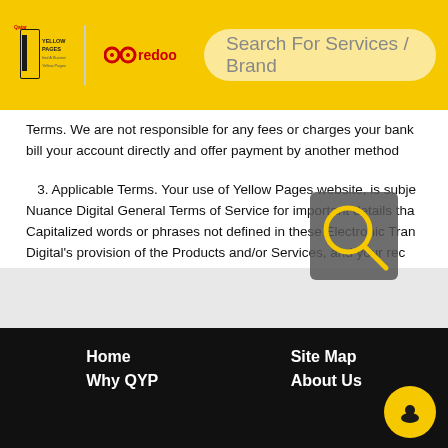Qatar Yellow Pages | Ooredoo | Search For Services / Brand
Terms. We are not responsible for any fees or charges your bank bill your account directly and offer payment by another method
3. Applicable Terms. Your use of Yellow Pages website, is subje Nuance Digital General Terms of Service for important details tha Capitalized words or phrases not defined in these Electronic Tran Digital's provision of the Products and/or Services, and your rec Service. Please refer to these Product and/or Service specific ter
4. Entire Agreement; Precedence. These Electronic Transactio Nuance Digital relating to the Products or Services. In the event Terms, and the Nuance Digital General Terms of Use, precedenc
Home | Site Map | Why QYP | About Us